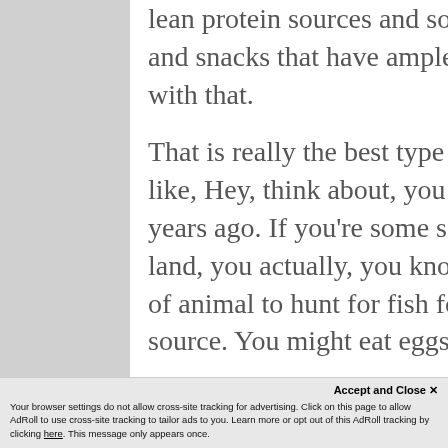lean protein sources and so healthy meat meals that they say and snacks that have ample produce and protein. I do agree with that.
That is really the best type of diet. I've told people before, like, Hey, think about, you know, 50 or a hundred or 300 years ago. If you're some sort of, you know, living off the land, you actually, you know, like hunt or look for some sort of animal to hunt for fish for. So it'd be a higher lean protein source. You might eat eggs or something from
Accept and Close ✕ Your browser settings do not allow cross-site tracking for advertising. Click on this page to allow AdRoll to use cross-site tracking to tailor ads to you. Learn more or opt out of this AdRoll tracking by clicking here. This message only appears once.